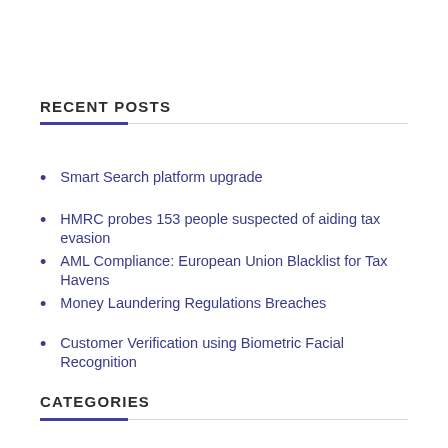RECENT POSTS
Smart Search platform upgrade
HMRC probes 153 people suspected of aiding tax evasion
AML Compliance: European Union Blacklist for Tax Havens
Money Laundering Regulations Breaches
Customer Verification using Biometric Facial Recognition
CATEGORIES